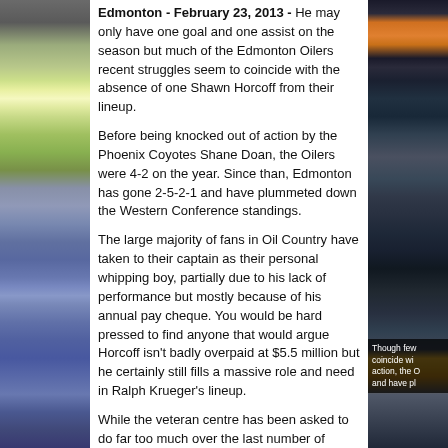[Figure (photo): Left column: photo of purple and white flowers with green leaves on a dark background]
Edmonton - February 23, 2013 - He may only have one goal and one assist on the season but much of the Edmonton Oilers recent struggles seem to coincide with the absence of one Shawn Horcoff from their lineup.

Before being knocked out of action by the Phoenix Coyotes Shane Doan, the Oilers were 4-2 on the year. Since than, Edmonton has gone 2-5-2-1 and have plummeted down the Western Conference standings.

The large majority of fans in Oil Country have taken to their captain as their personal whipping boy, partially due to his lack of performance but mostly because of his annual pay cheque. You would be hard pressed to find anyone that would argue Horcoff isn't badly overpaid at $5.5 million but he certainly still fills a massive role and need in Ralph Krueger's lineup.

While the veteran centre has been asked to do far too much over the last number of seasons, he was finally placed into the third line role, that best fits his skill set. After playing nearly twenty minutes a night, for what seems to have been an eternity, Horcoff finally saw his minutes cut to just over fifteen minutes by the Oilers new bench boss.

Through seven plus games, the former seventy point man looks comfortable in his new role. Unfortunately, that's when the inju
[Figure (photo): Right column: photo of Edmonton Oilers hockey player in blue jersey with hockey stick, with Oilers logo visible at top]
Though few... coincide wi... action, the O... and have pl...